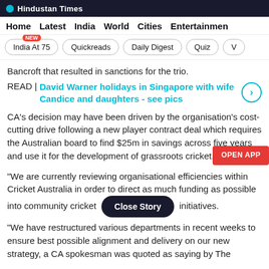Hindustan Times
Home  Latest  India  World  Cities  Entertainment
India At 75 NEW  Quickreads  Daily Digest  Quiz  V
Bancroft that resulted in sanctions for the trio.
READ | David Warner holidays in Singapore with wife Candice and daughters - see pics
CA’s decision may have been driven by the organisation’s cost-cutting drive following a new player contract deal which requires the Australian board to find $25m in savings across five years and use it for the development of grassroots cricket.
“We are currently reviewing organisational efficiencies within Cricket Australia in order to direct as much funding as possible into community cricket and grassroots initiatives.
“We have restructured various departments in recent weeks to ensure best possible alignment and delivery on our new strategy, a CA spokesman was quoted as saying by The